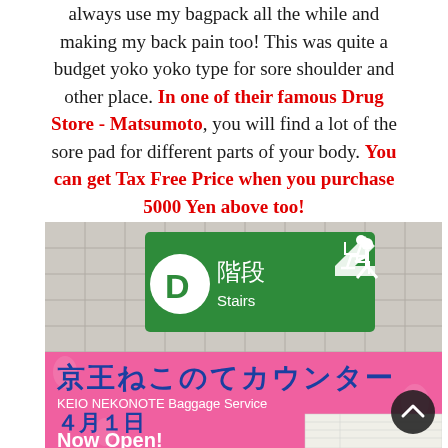always use my bagpack all the while and making my back pain too! This was quite a budget yoko yoko type for sore shoulder and other place. In one of their famous Drug Store - Matsumoto, you will find a lot of the sore pad for different parts of your body. You can get Tax Free Price when you purchase 5000 Yen above too!
[Figure (photo): Photo of a Japanese train station sign showing a green staircase sign with 'D 階段 Stairs' and below it a pink Keio Nekonote Baggage Service sign with Japanese text '京王ねこのてカウンター', 'KEIO NEKONOTE Baggage Service', '４月１日', and 'Now Open!']